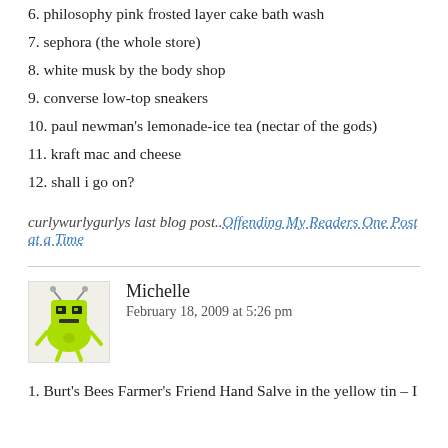6. philosophy pink frosted layer cake bath wash
7. sephora (the whole store)
8. white musk by the body shop
9. converse low-top sneakers
10. paul newman's lemonade-ice tea (nectar of the gods)
11. kraft mac and cheese
12. shall i go on?
curlywurlygurlys last blog post..Offending My Readers One Post at a Time
Michelle
February 18, 2009 at 5:26 pm
1. Burt's Bees Farmer's Friend Hand Salve in the yellow tin – I